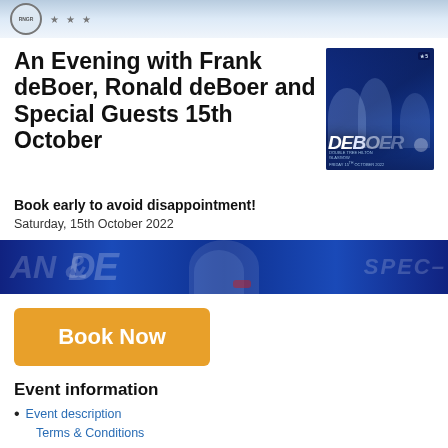Rangers/RNGR logo header with stars
An Evening with Frank deBoer, Ronald deBoer and Special Guests 15th October
[Figure (photo): Event promotional poster for deBoer evening with players in blue Rangers kit, text 'DEBOER' and event details including DoubleTree Hilton Glasgow Friday 15th October 2022]
Book early to avoid disappointment!
Saturday, 15th October 2022
[Figure (photo): Blue promotional banner strip with large stylized text 'DE' and 'SPEC' partially visible, showing players in Rangers blue kit]
Book Now
Event information
Event description
Terms & Conditions